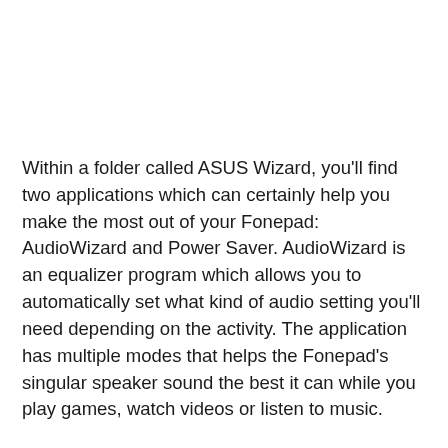Within a folder called ASUS Wizard, you'll find two applications which can certainly help you make the most out of your Fonepad: AudioWizard and Power Saver. AudioWizard is an equalizer program which allows you to automatically set what kind of audio setting you'll need depending on the activity. The application has multiple modes that helps the Fonepad's singular speaker sound the best it can while you play games, watch videos or listen to music.
Power Saver, on the other hand, helps you manage